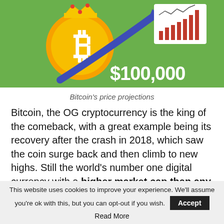[Figure (illustration): Bitcoin coin with crown on green background, blue upward arrow, bar chart in top right corner, and '$100,000' text overlay]
Bitcoin's price projections
Bitcoin, the OG cryptocurrency is the king of the comeback, with a great example being its recovery after the crash in 2018, which saw the coin surge back and then climb to new highs. Still the world's number one digital currency with a higher market cap than any other coin, BTC reached its highest
This website uses cookies to improve your experience. We'll assume you're ok with this, but you can opt-out if you wish. Accept Read More